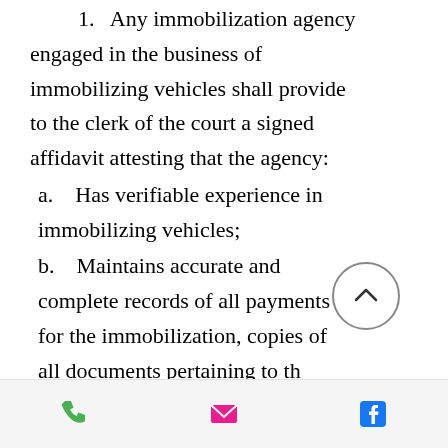1. Any immobilization agency engaged in the business of immobilizing vehicles shall provide to the clerk of the court a signed affidavit attesting that the agency:
a. Has verifiable experience in immobilizing vehicles;
b. Maintains accurate and complete records of all payments for the immobilization, copies of all documents pertaining to the court's order of impoundment or
[Figure (other): Mobile app bottom navigation bar with phone, email, and Facebook icons]
[Figure (other): Circular scroll-to-top button with upward chevron arrow]